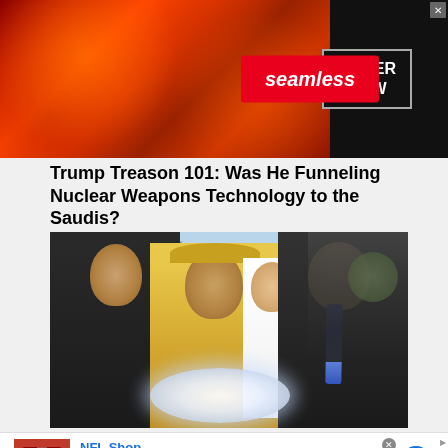[Figure (other): Seamless food delivery advertisement banner with pizza imagery, seamless logo in red, and ORDER NOW button]
Trump Treason 101: Was He Funneling Nuclear Weapons Technology to the Saudis?
[Figure (photo): Photo of multiple figures including a man in black suit on left, a man in traditional Arab clothing center, a woman in white (Melania) behind, and Donald Trump on right, all gathered around a glowing orb]
[Figure (other): NFL Shop advertisement. Free shipping on orders over $25. www.nflshop.com. SHOP NOW button. Blue circle arrow button on right.]